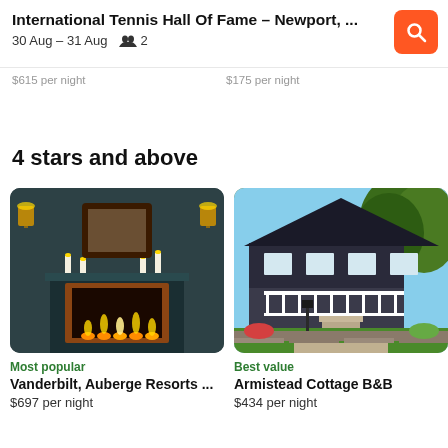International Tennis Hall Of Fame – Newport, ...
30 Aug – 31 Aug  2
$615 per night   $175 per night
4 stars and above
[Figure (photo): Interior photo of a room with a fireplace, candles on the mantle, two wall sconces, and an ornate mirror. Warm candlelit ambiance with dark teal walls.]
Most popular
Vanderbilt, Auberge Resorts ...
$697 per night
[Figure (photo): Exterior photo of a large dark-colored house with a porch, white railings, green lawn, and trees in the background on a sunny day.]
Best value
Armistead Cottage B&B
$434 per night